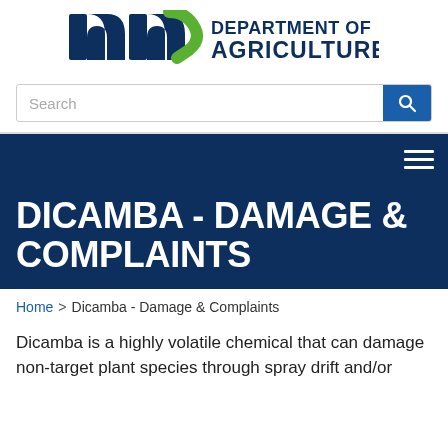[Figure (logo): Minnesota Department of Agriculture logo with stylized 'mn' mark in dark blue and green, and bold text 'DEPARTMENT OF AGRICULTURE' in dark blue]
[Figure (screenshot): Search bar with placeholder text 'Search' and a blue search button with magnifying glass icon]
DICAMBA - DAMAGE & COMPLAINTS
Home > Dicamba - Damage & Complaints
Dicamba is a highly volatile chemical that can damage non-target plant species through spray drift and/or